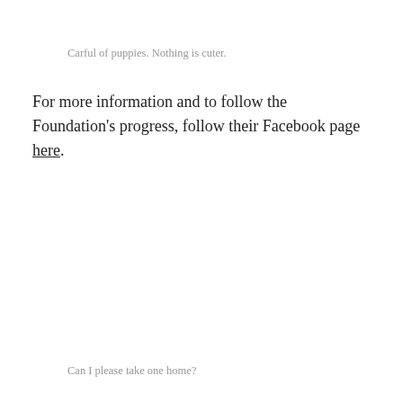Carful of puppies. Nothing is cuter.
For more information and to follow the Foundation's progress, follow their Facebook page here.
Can I please take one home?